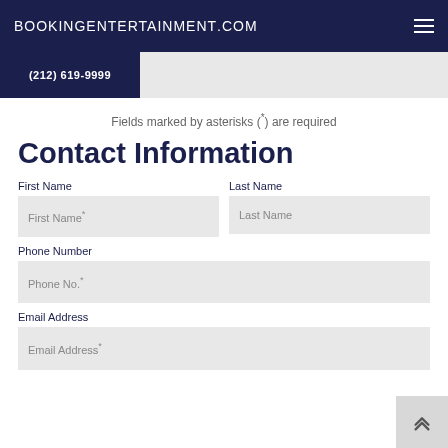BOOKINGENTERTAINMENT.COM
Fields marked by asterisks (*) are required
Contact Information
First Name
Last Name
First Name*
Last Name
Phone Number
Phone No.*
Email Address
Email Address*